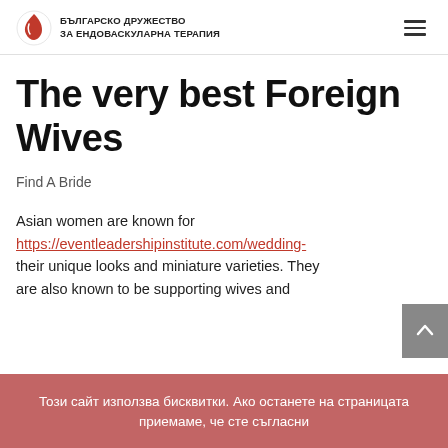БЪЛГАРСКО ДРУЖЕСТВО ЗА ЕНДОВАСКУЛАРНА ТЕРАПИЯ
The very best Foreign Wives
Find A Bride
Asian women are known for https://eventleadershipinstitute.com/wedding-their unique looks and miniature varieties. They are also known to be supporting wives and
Този сайт използва бисквитки. Ако останете на страницата приемаме, че сте съгласни